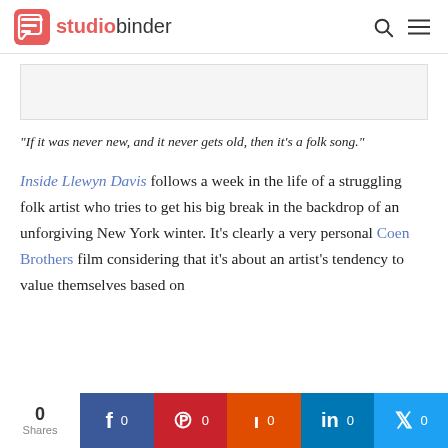studiobinder
[Figure (photo): Placeholder image area (light gray box)]
“If it was never new, and it never gets old, then it’s a folk song.”
Inside Llewyn Davis follows a week in the life of a struggling folk artist who tries to get his big break in the backdrop of an unforgiving New York winter. It’s clearly a very personal Coen Brothers film considering that it’s about an artist’s tendency to value themselves based on
0 Shares  f 0  p 0  reddit 0  in 0  t 0